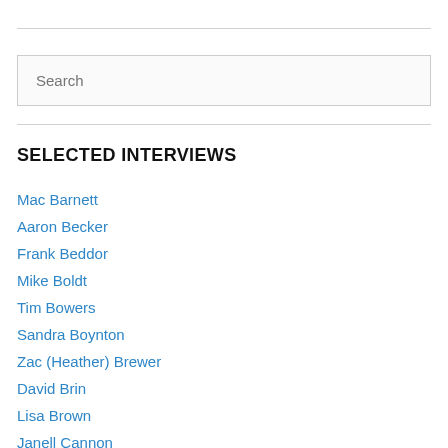[Figure (other): Search input box with placeholder text 'Search']
SELECTED INTERVIEWS
Mac Barnett
Aaron Becker
Frank Beddor
Mike Boldt
Tim Bowers
Sandra Boynton
Zac (Heather) Brewer
David Brin
Lisa Brown
Janell Cannon
Gail Carriger
Bruce Coville